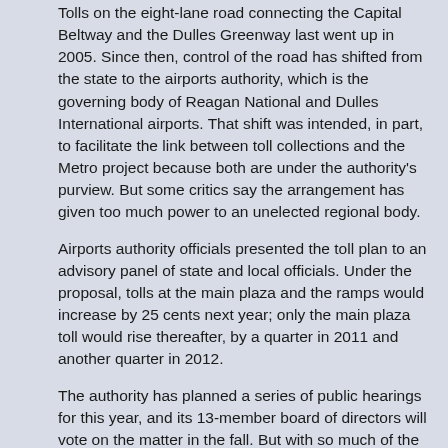Tolls on the eight-lane road connecting the Capital Beltway and the Dulles Greenway last went up in 2005. Since then, control of the road has shifted from the state to the airports authority, which is the governing body of Reagan National and Dulles International airports. That shift was intended, in part, to facilitate the link between toll collections and the Metro project because both are under the authority's purview. But some critics say the arrangement has given too much power to an unelected regional body.
Airports authority officials presented the toll plan to an advisory panel of state and local officials. Under the proposal, tolls at the main plaza and the ramps would increase by 25 cents next year; only the main plaza toll would rise thereafter, by a quarter in 2011 and another quarter in 2012.
The authority has planned a series of public hearings for this year, and its 13-member board of directors will vote on the matter in the fall. But with so much of the rail project dependent on toll revenue, it is not a question of whether the tolls will increase but whether the changes will take place incrementally or all at once.
The large burden on commuters has prompted some area officials to seek additional funding sources.
"I would hope that regionally we will press for more federal funding," said Scott K. York (I), chairman of the Loudoun County Board of Supervisors and a member of the advisory committee.
The authority's board of directors is expected to give tentative approval to a plan this summer, in part to prove to investors that